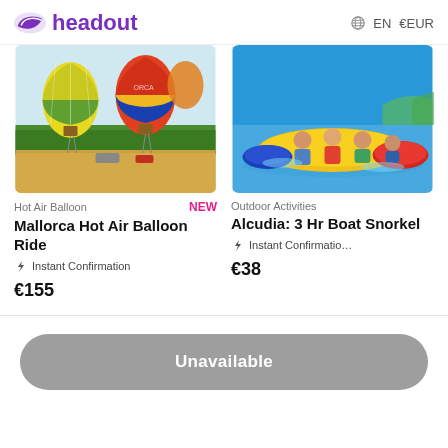headout   EN  €EUR
[Figure (photo): Hot air balloons on a field with trees in background]
Hot Air Balloon
NEW
Mallorca Hot Air Balloon Ride
⚡ Instant Confirmation
€155
[Figure (photo): People on inflatable tubes on water, outdoor activities]
Outdoor Activities
Alcudia: 3 Hr Boat Snorkel
⚡ Instant Confirmation
€38
Unavailable